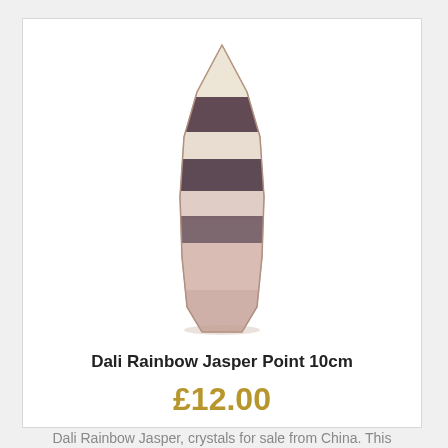[Figure (photo): A polished crystal obelisk tower made of Dali Rainbow Jasper, showing alternating bands of cream, dark purple/maroon, and pink hues, set against a white background.]
Dali Rainbow Jasper Point 10cm
£12.00
Dali Rainbow Jasper, crystals for sale from China. This gorgeous Dali Rainbow Jasper...